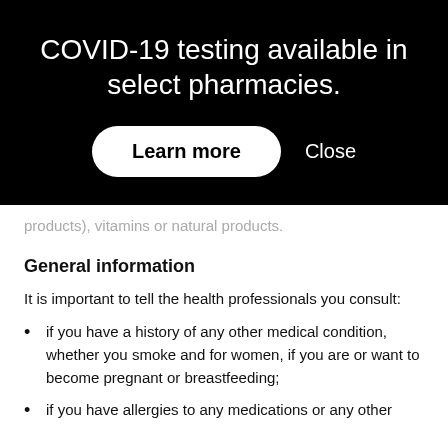COVID-19 testing available in select pharmacies.
Learn more   Close
products), vitamins or natural products.
General information
It is important to tell the health professionals you consult:
if you have a history of any other medical condition, whether you smoke and for women, if you are or want to become pregnant or breastfeeding;
if you have allergies to any medications or any other